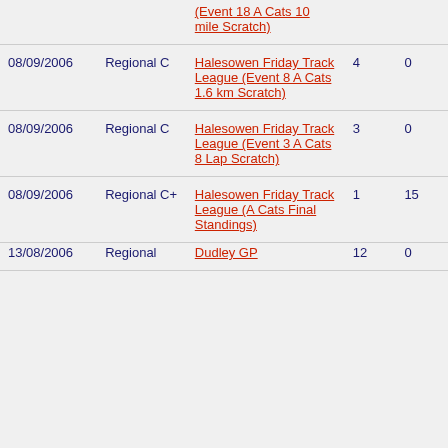| Date | Category | Event |  |  |
| --- | --- | --- | --- | --- |
|  |  | (Event 18 A Cats 10 mile Scratch) |  |  |
| 08/09/2006 | Regional C | Halesowen Friday Track League (Event 8 A Cats 1.6 km Scratch) | 4 | 0 |
| 08/09/2006 | Regional C | Halesowen Friday Track League (Event 3 A Cats 8 Lap Scratch) | 3 | 0 |
| 08/09/2006 | Regional C+ | Halesowen Friday Track League (A Cats Final Standings) | 1 | 15 |
| 13/08/2006 | Regional | Dudley GP | 12 | 0 |